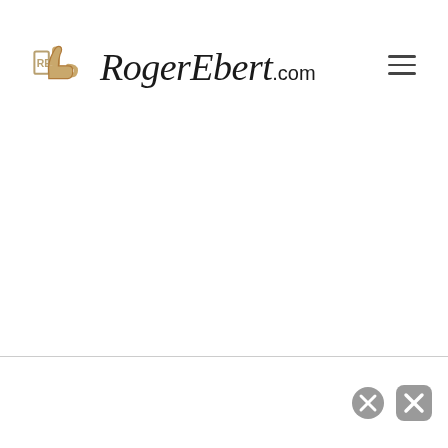[Figure (logo): RogerEbert.com logo with thumbs-up icon and cursive wordmark]
[Figure (other): Hamburger menu icon (three horizontal lines) at top right]
[Figure (other): Two close/dismiss button icons (circled X) at bottom right of a banner bar]